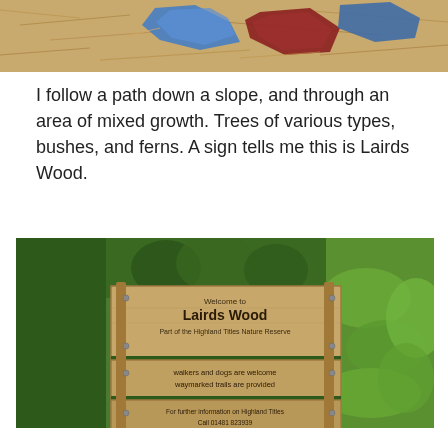[Figure (photo): Top portion of a photo showing scattered colorful debris (blue, red pieces) on a ground covered with dry needles/straw.]
I follow a path down a slope, and through an area of mixed growth. Trees of various types, bushes, and ferns. A sign tells me this is Lairds Wood.
[Figure (photo): A wooden sign in a forest setting reading: 'Welcome to Lairds Wood – Part of the Highland Titles Nature Reserve. walkers and dogs are welcome, waymarked trails are provided. For further information on Highland Titles Call 01481 823939 www.highlandtitles.com']
Further on, another sign tells me this is Keil Hill. None of these names exist on my map.
And then, all too soon, I'm back on the A828 road. I've